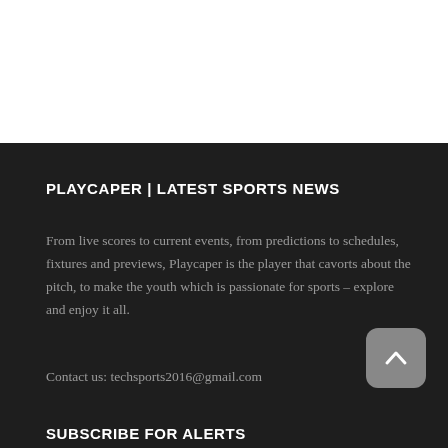PLAYCAPER | LATEST SPORTS NEWS
From live scores to current events, from predictions to schedules, fixtures and previews, Playcaper is the player that cavorts about the pitch, to make the youth which is passionate for sports – explore and enjoy it all.
Contact us: techsports2016@gmail.com
[Figure (other): Scroll-to-top button with upward chevron arrow on rounded square grey background]
SUBSCRIBE FOR ALERTS